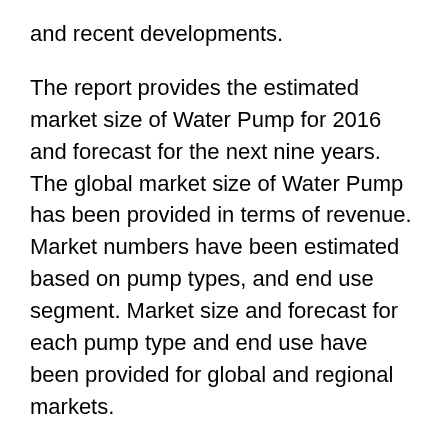and recent developments.
The report provides the estimated market size of Water Pump for 2016 and forecast for the next nine years. The global market size of Water Pump has been provided in terms of revenue. Market numbers have been estimated based on pump types, and end use segment. Market size and forecast for each pump type and end use have been provided for global and regional markets.
In order to compile the research report, we have conducted in-depth interviews and discussions with a number of key industry participants and opinion leaders. Primary research represents the bulk of research efforts, supplemented by extensive